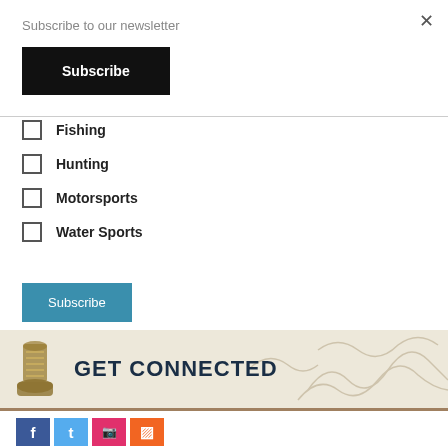Subscribe to our newsletter
Subscribe
Fishing
Hunting
Motorsports
Water Sports
Subscribe
[Figure (infographic): GET CONNECTED banner with boot print and topographic map background]
[Figure (infographic): Social media icons: Facebook (blue), Twitter (light blue), Instagram (pink/red), RSS (orange)]